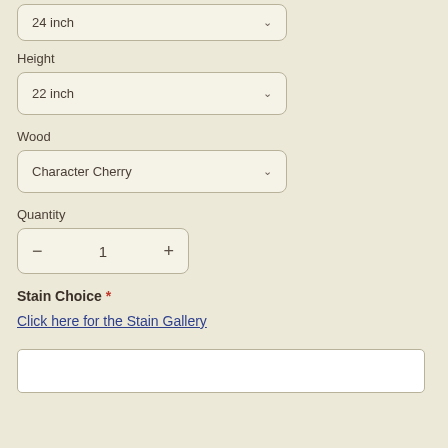[Figure (screenshot): Dropdown selector showing '24 inch' value with chevron]
Height
[Figure (screenshot): Dropdown selector showing '22 inch' value with chevron]
Wood
[Figure (screenshot): Dropdown selector showing 'Character Cherry' value with chevron]
Quantity
[Figure (screenshot): Quantity stepper showing minus button, value 1, plus button]
Stain Choice *
Click here for the Stain Gallery
[Figure (screenshot): Empty text input field for stain choice]